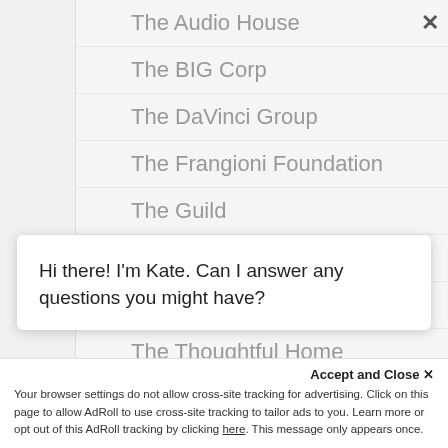The Audio House
The BIG Corp
The DaVinci Group
The Frangioni Foundation
The Guild
The PAVE
The Premier Group
The Thoughtful Home
TheCoTeam
Theatrical Lighting
Theo Tsavoussis
Tim Albright
Hi there! I'm Kate. Can I answer any questions you might have?
Accept and Close ✕
Your browser settings do not allow cross-site tracking for advertising. Click on this page to allow AdRoll to use cross-site tracking to tailor ads to you. Learn more or opt out of this AdRoll tracking by clicking here. This message only appears once.